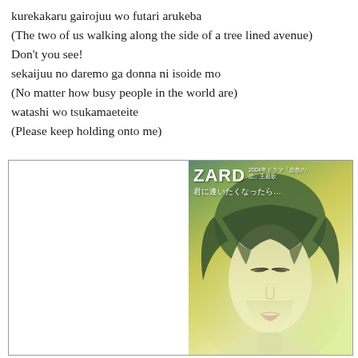kurekakaru gairojuu wo futari arukeba
(The two of us walking along the side of a tree lined avenue)
Don't you see!
sekaijuu no daremo ga donna ni isoide mo
(No matter how busy people in the world are)
watashi wo tsukamaeteite
(Please keep holding onto me)
[Figure (photo): Album cover for ZARD's single 'Kimi ni Aitaku Nattara...' showing a close-up of a woman's face with bangs, looking downward, with a green-yellow tinted background. The ZARD logo and Japanese text appear in white at the top. The left portion of the box is white/empty.]